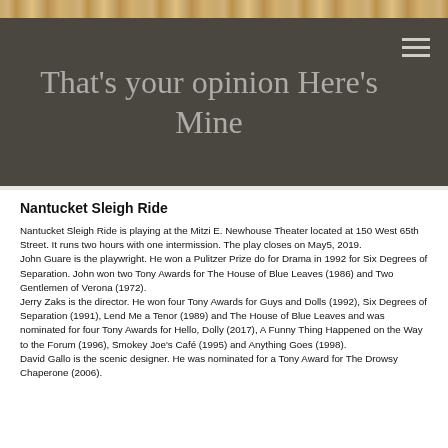That's your opinion Here's Mine
Nantucket Sleigh Ride
Nantucket Sleigh Ride is playing at the Mitzi E. Newhouse Theater located at 150 West 65th Street. It runs two hours with one intermission. The play closes on May5, 2019.
John Guare is the playwright. He won a Pulitzer Prize do for Drama in 1992 for Six Degrees of Separation. John won two Tony Awards for The House of Blue Leaves (1986) and Two Gentlemen of Verona (1972).
Jerry Zaks is the director. He won four Tony Awards for Guys and Dolls (1992), Six Degrees of Separation (1991), Lend Me a Tenor (1989) and The House of Blue Leaves and was nominated for four Tony Awards for Hello, Dolly (2017), A Funny Thing Happened on the Way to the Forum (1996), Smokey Joe's Café (1995) and Anything Goes (1998).
David Gallo is the scenic designer. He was nominated for a Tony Award for The Drowsy Chaperone (2006).